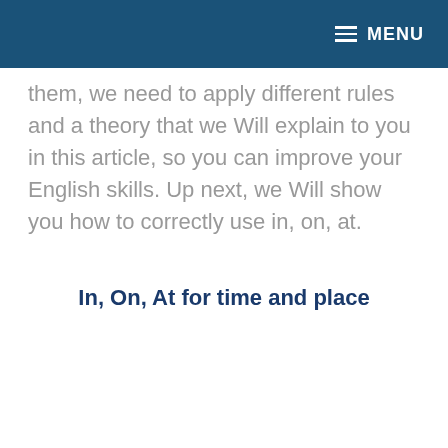MENU
them, we need to apply different rules and a theory that we Will explain to you in this article, so you can improve your English skills. Up next, we Will show you how to correctly use in, on, at.
In, On, At for time and place